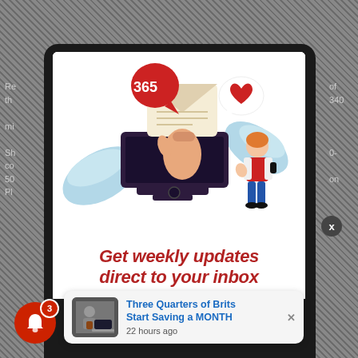[Figure (illustration): Email newsletter subscription illustration: a large computer monitor with a hand holding an envelope emerging from the screen, a red speech bubble with '365', a heart speech bubble, and a woman standing beside the monitor holding a phone. Blue leaf decorations in background. Below the illustration: bold italic red text 'Get weekly updates direct to your inbox'.]
Get weekly updates direct to your inbox
[Figure (screenshot): Notification toast: thumbnail image of person at laptop, blue link text 'Three Quarters of Brits Start Saving a MONTH', timestamp '22 hours ago', with X close button.]